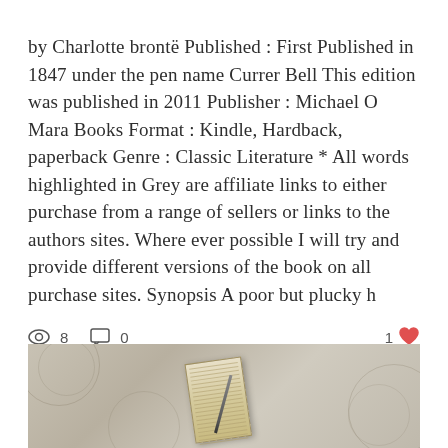by Charlotte brontë Published : First Published in 1847 under the pen name Currer Bell This edition was published in 2011 Publisher : Michael O Mara Books Format : Kindle, Hardback, paperback Genre : Classic Literature * All words highlighted in Grey are affiliate links to either purchase from a range of sellers or links to the authors sites. Where ever possible I will try and provide different versions of the book on all purchase sites. Synopsis A poor but plucky h
[Figure (photo): Photo of an open book lying on a floral patterned fabric/bedsheet background]